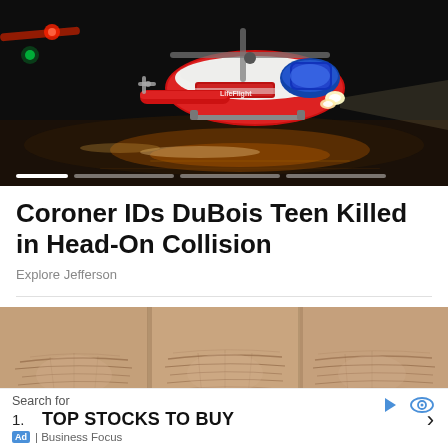[Figure (photo): Nighttime photo of a medical helicopter (LifeFlight) on a dark tarmac. The helicopter is illuminated with red lights and headlights. There are slider indicator dots at the bottom of the image.]
Coroner IDs DuBois Teen Killed in Head-On Collision
Explore Jefferson
[Figure (photo): Close-up photo of human skin showing finger knuckles with detailed texture and wrinkle lines.]
Search for
1. TOP STOCKS TO BUY
Ad | Business Focus